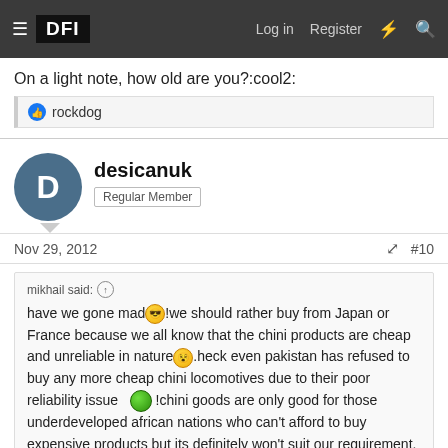DFI — Log in  Register
On a light note, how old are you?:cool2:
👍 rockdog
desicanuk
Regular Member
Nov 29, 2012  #10
mikhail said: ↑
have we gone mad!we should rather buy from Japan or France because we all know that the chini products are cheap and unreliable in nature.heck even pakistan has refused to buy any more cheap chini locomotives due to their poor reliability issue !chini goods are only good for those underdeveloped african nations who can't afford to buy expensive products but its definitely won't suit our requirement.